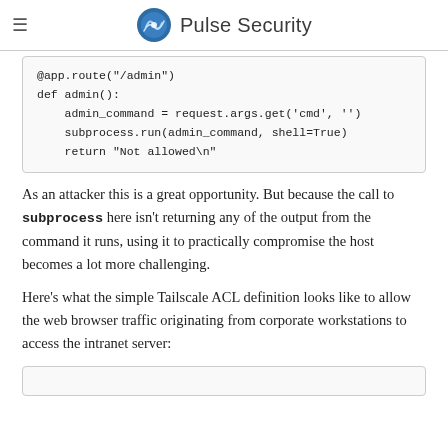Pulse Security
@app.route("/admin")
def admin():
    admin_command = request.args.get('cmd', '')
    subprocess.run(admin_command, shell=True)
    return "Not allowed\n"
As an attacker this is a great opportunity. But because the call to subprocess here isn't returning any of the output from the command it runs, using it to practically compromise the host becomes a lot more challenging.
Here's what the simple Tailscale ACL definition looks like to allow the web browser traffic originating from corporate workstations to access the intranet server: